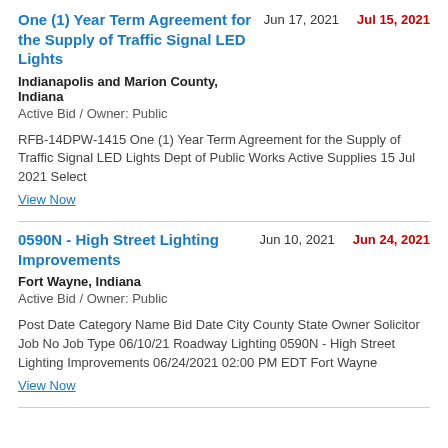One (1) Year Term Agreement for the Supply of Traffic Signal LED Lights
Jun 17, 2021    Jul 15, 2021
Indianapolis and Marion County, Indiana
Active Bid / Owner: Public
RFB-14DPW-1415 One (1) Year Term Agreement for the Supply of Traffic Signal LED Lights Dept of Public Works Active Supplies 15 Jul 2021 Select
View Now
0590N - High Street Lighting Improvements
Jun 10, 2021    Jun 24, 2021
Fort Wayne, Indiana
Active Bid / Owner: Public
Post Date Category Name Bid Date City County State Owner Solicitor Job No Job Type 06/10/21 Roadway Lighting 0590N - High Street Lighting Improvements 06/24/2021 02:00 PM EDT Fort Wayne
View Now